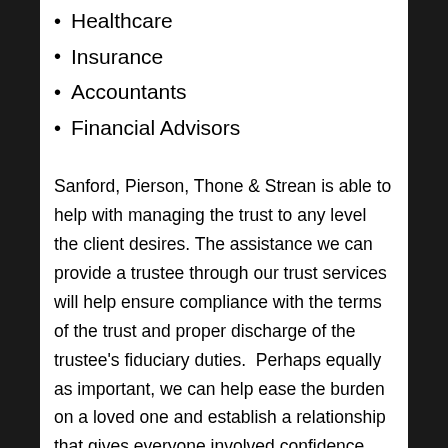Healthcare
Insurance
Accountants
Financial Advisors
Sanford, Pierson, Thone & Strean is able to help with managing the trust to any level the client desires. The assistance we can provide a trustee through our trust services will help ensure compliance with the terms of the trust and proper discharge of the trustee’s fiduciary duties. Perhaps equally as important, we can help ease the burden on a loved one and establish a relationship that gives everyone involved confidence that the grantor’s wishes are being carried out faithfully. We like to think of it as the trustee’s executive assistant. The flexibility of